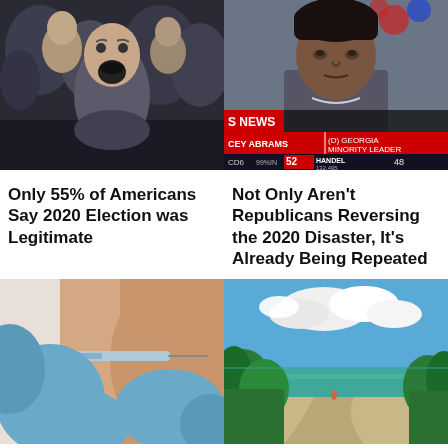[Figure (photo): Crowd of people at a rally, man with mouth open in foreground, dark tones]
[Figure (screenshot): News broadcast screenshot showing Stacey Abrams (D) Georgia Minority Leader, with election results ticker showing CD6 99% in, HANDEL 52% 132,495, 48]
Only 55% of Americans Say 2020 Election was Legitimate
Not Only Aren't Republicans Reversing the 2020 Disaster, It's Already Being Repeated
[Figure (photo): Medical gloved hands administering a vaccine injection into an arm with a syringe]
[Figure (photo): Tropical beach scene with turquoise water, sandy path, green trees, and blue sky with clouds]